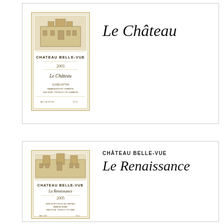[Figure (illustration): Wine bottle label for Chateau Belle-Vue Le Chateau, showing a chateau building illustration, text CHATEAU BELLE-VUE, 2003, LE CHATEAU, bordered label with decorative elements]
Le Château
[Figure (illustration): Wine bottle label for Chateau Belle-Vue La Renaissance, showing a chateau building illustration, text CHATEAU BELLE-VUE, LA RENAISSANCE, 2005, bordered label with decorative elements]
CHÂTEAU BELLE-VUE
Le Renaissance